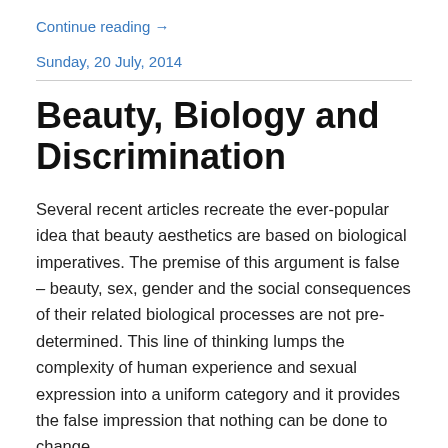Continue reading →
Sunday, 20 July, 2014
Beauty, Biology and Discrimination
Several recent articles recreate the ever-popular idea that beauty aesthetics are based on biological imperatives. The premise of this argument is false – beauty, sex, gender and the social consequences of their related biological processes are not pre-determined. This line of thinking lumps the complexity of human experience and sexual expression into a uniform category and it provides the false impression that nothing can be done to change